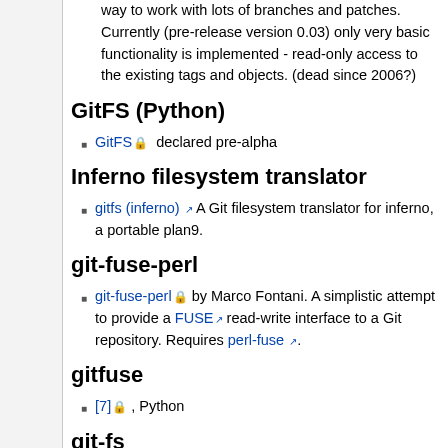way to work with lots of branches and patches. Currently (pre-release version 0.03) only very basic functionality is implemented - read-only access to the existing tags and objects. (dead since 2006?)
GitFS (Python)
GitFS [lock] declared pre-alpha
Inferno filesystem translator
gitfs (inferno) [ext] A Git filesystem translator for inferno, a portable plan9.
git-fuse-perl
git-fuse-perl [lock] by Marco Fontani. A simplistic attempt to provide a FUSE [ext] read-write interface to a Git repository. Requires perl-fuse [ext].
gitfuse
[7] [lock] , Python
git-fs